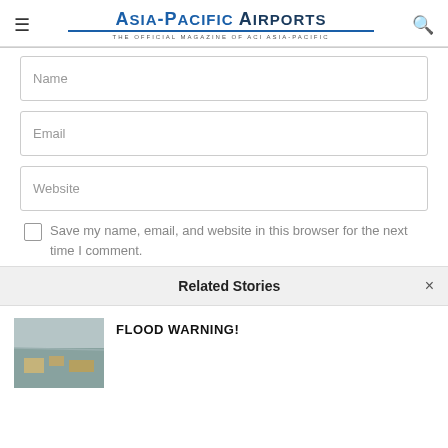Asia-Pacific Airports — THE OFFICIAL MAGAZINE OF ACI ASIA-PACIFIC
Name
Email
Website
Save my name, email, and website in this browser for the next time I comment.
Related Stories
FLOOD WARNING!